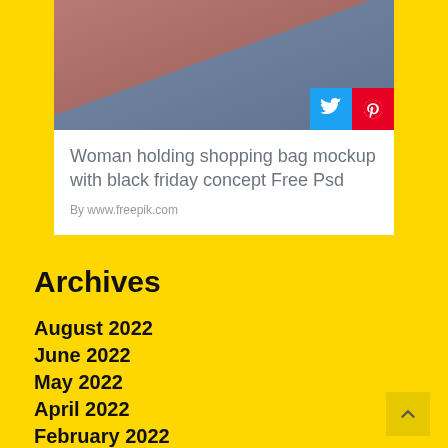[Figure (photo): Woman holding shopping bag with black friday concept, showing red top and jeans, on grey background. Social share buttons (Twitter and Pinterest) overlaid at bottom right.]
Woman holding shopping bag mockup with black friday concept Free Psd
By www.freepik.com
Archives
August 2022
June 2022
May 2022
April 2022
February 2022